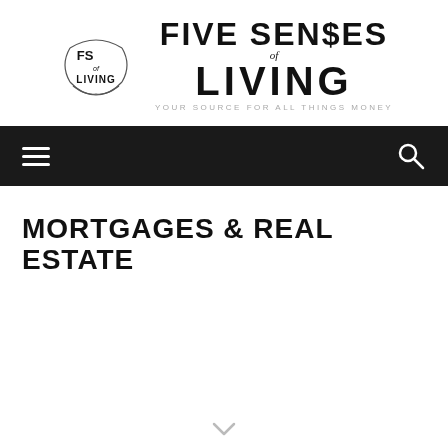[Figure (logo): Five Senses of Living logo with circular emblem containing 'FS of LIVING' and large text 'FIVE SEN$ES of LIVING' with tagline 'YOUR SOURCE FOR ALL THINGS MONEY']
Navigation bar with hamburger menu and search icon
MORTGAGES & REAL ESTATE